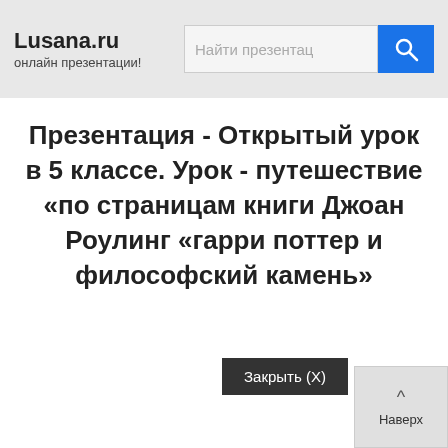Lusana.ru онлайн презентации!
Презентация - Открытый урок в 5 классе. Урок - путешествие «по страницам книги Джоан Роулинг «гарри поттер и философский камень»
Закрыть (X)
Наверх